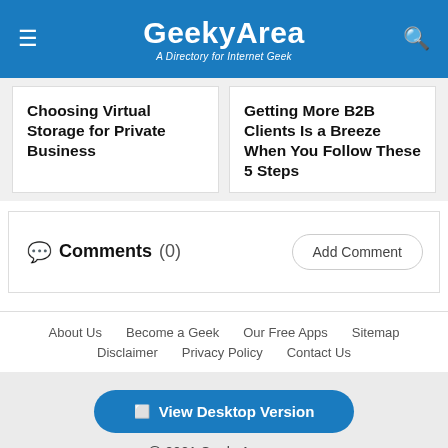GeekyArea – A Directory for Internet Geek
Choosing Virtual Storage for Private Business
Getting More B2B Clients Is a Breeze When You Follow These 5 Steps
Comments (0)
Add Comment
About Us   Become a Geek   Our Free Apps   Sitemap
Disclaimer   Privacy Policy   Contact Us
View Desktop Version
@ 2021 GeekyArea.com